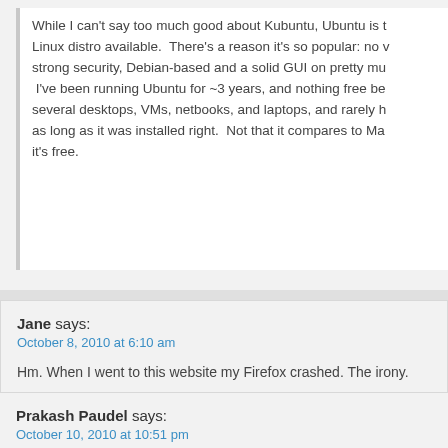While I can't say too much good about Kubuntu, Ubuntu is the best Linux distro available.  There's a reason it's so popular: no v... strong security, Debian-based and a solid GUI on pretty mu...  I've been running Ubuntu for ~3 years, and nothing free be... several desktops, VMs, netbooks, and laptops, and rarely h... as long as it was installed right.  Not that it compares to Ma... it's free.
Jane says:
October 8, 2010 at 6:10 am
Hm. When I went to this website my Firefox crashed. The irony.
Prakash Paudel says:
October 10, 2010 at 10:51 pm